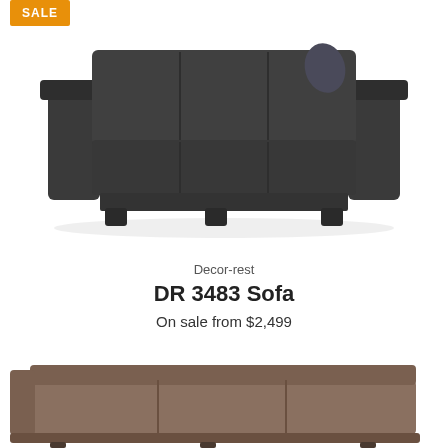[Figure (photo): Orange SALE badge in top left corner]
[Figure (photo): Dark charcoal/black leather three-seat sofa with square arms and block feet, shown on white background]
Decor-rest
DR 3483 Sofa
On sale from $2,499
[Figure (photo): Partial view of a brown/taupe leather sectional sofa, cropped at bottom of page]